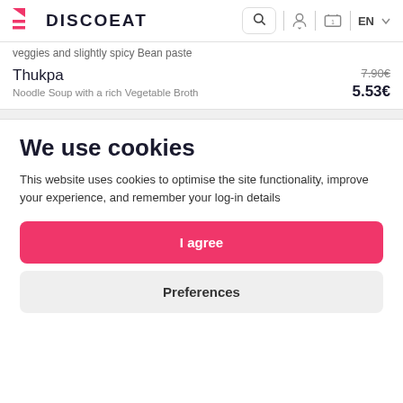DISCOEAT
veggies and slightly spicy Bean paste
Thukpa
Noodle Soup with a rich Vegetable Broth
7.90€  5.53€
We use cookies
This website uses cookies to optimise the site functionality, improve your experience, and remember your log-in details
I agree
Preferences